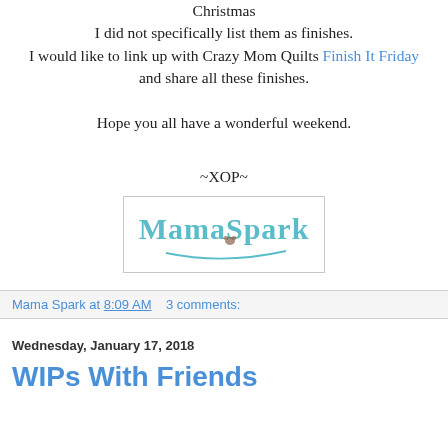Christmas
I did not specifically list them as finishes.
I would like to link up with Crazy Mom Quilts Finish It Friday
and share all these finishes.
Hope you all have a wonderful weekend.
~XOP~
[Figure (logo): MamaSpark logo in teal cursive script with a small cat graphic, inside a light gray border rectangle]
Mama Spark at 8:09 AM   3 comments:
Wednesday, January 17, 2018
WIPs With Friends